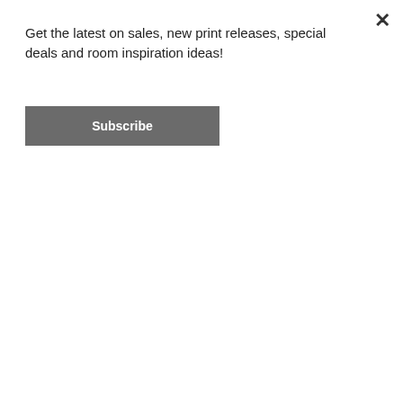Get the latest on sales, new print releases, special deals and room inspiration ideas!
Subscribe
WITHOUT border
WITH border
COLOUR
Duck Egg Blue
Black
Navy Blue
Tangerine Tango
Other
Other colour
If you would like another colour please include below:
SIZE